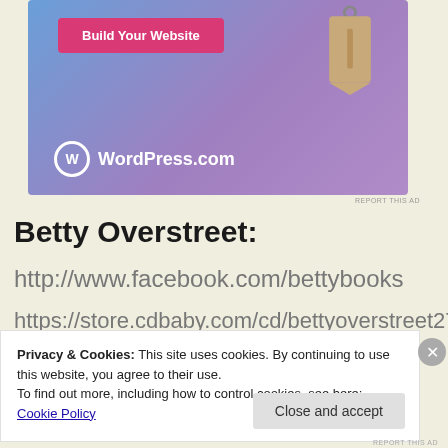[Figure (illustration): WordPress.com advertisement banner with blue-purple gradient background, a pink 'Build Your Website' button, a hanging price tag illustration, and the WordPress.com logo and domain name in white text at the bottom left.]
REPORT THIS AD
Betty Overstreet:
http://www.facebook.com/bettybooks
https://store.cdbaby.com/cd/bettyoverstreet27
Privacy & Cookies: This site uses cookies. By continuing to use this website, you agree to their use.
To find out more, including how to control cookies, see here: Cookie Policy
Close and accept